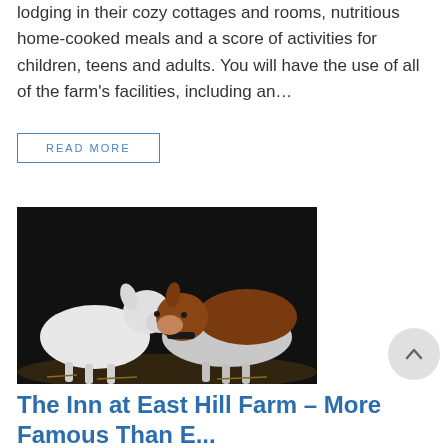lodging in their cozy cottages and rooms, nutritious home-cooked meals and a score of activities for children, teens and adults. You will have the use of all of the farm’s facilities, including an…
READ MORE
[Figure (photo): Two goats nuzzling each other against a dark background. One goat is white and the other is brown and white with a collar.]
The Inn at East Hill Farm – More Famous Than E...